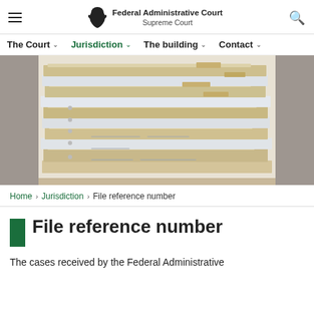Federal Administrative Court Supreme Court — navigation with The Court, Jurisdiction, The building, Contact
[Figure (photo): Stack of manila file folders and documents piled in a white filing cabinet shelf]
Home › Jurisdiction › File reference number
File reference number
The cases received by the Federal Administrative